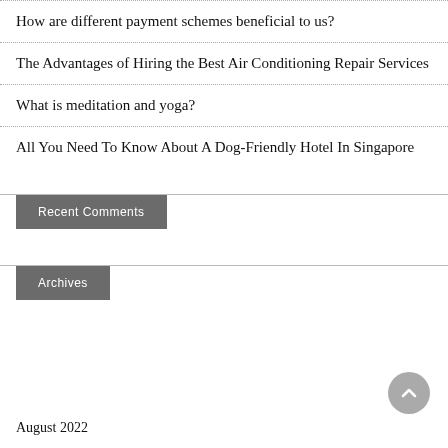How are different payment schemes beneficial to us?
The Advantages of Hiring the Best Air Conditioning Repair Services
What is meditation and yoga?
All You Need To Know About A Dog-Friendly Hotel In Singapore
Recent Comments
Archives
August 2022